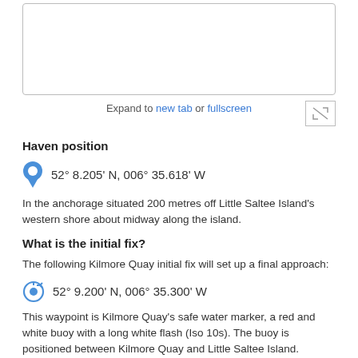[Figure (other): Map or image area (empty white box with border)]
Expand to new tab or fullscreen
Haven position
52° 8.205' N, 006° 35.618' W
In the anchorage situated 200 metres off Little Saltee Island's western shore about midway along the island.
What is the initial fix?
The following Kilmore Quay initial fix will set up a final approach:
52° 9.200' N, 006° 35.300' W
This waypoint is Kilmore Quay's safe water marker, a red and white buoy with a long white flash (Iso 10s). The buoy is positioned between Kilmore Quay and Little Saltee Island.